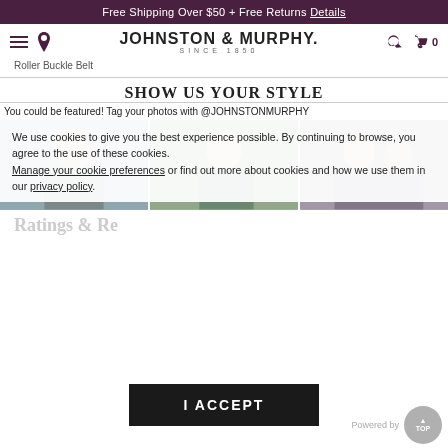Free Shipping Over $50 + Free Returns Details
[Figure (logo): Johnston & Murphy logo with hamburger menu, location pin, search and cart icons]
Roller Buckle Belt
SHOW US YOUR STYLE
You could be featured! Tag your photos with @JOHNSTONMURPHY
[Figure (photo): Three lifestyle photos showing people wearing Johnston & Murphy products]
We use cookies to give you the best experience possible. By continuing to browse, you agree to the use of these cookies. Manage your cookie preferences or find out more about cookies and how we use them in our privacy policy.
Ratings & Re
I ACCEPT
Powered by